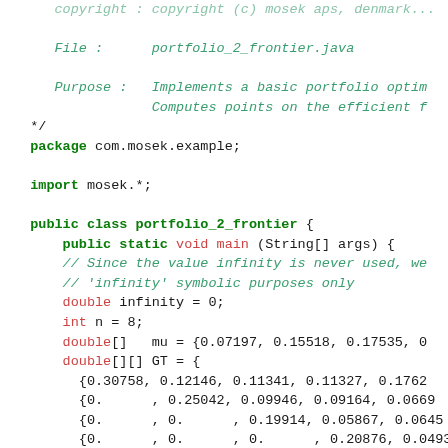File :      portfolio_2_frontier.java
Purpose :   Implements a basic portfolio optim... Computes points on the efficient f...
*/
package com.mosek.example;

import mosek.*;

public class portfolio_2_frontier {
  public static void main (String[] args) {
    // Since the value infinity is never used, we
    // 'infinity' symbolic purposes only
    double infinity = 0;
    int n = 8;
    double[]   mu = {0.07197, 0.15518, 0.17535, 0
    double[][] GT = {
      {0.30758, 0.12146, 0.11341, 0.11327, 0.1762
      {0.      , 0.25042, 0.09946, 0.09164, 0.0669
      {0.      , 0.      , 0.19914, 0.05867, 0.0645
      {0.      , 0.      , 0.      , 0.20876, 0.0493
      {0.      , 0.      , 0.      , 0.      , 0.3609
      {0.      , 0.      , 0.      , 0.      , 0.
      {0.      , 0.      , 0.      , 0.      , 0.
      {0.      , 0.      , 0.      , 0.      , 0.
    };
    int    k = GT.length;